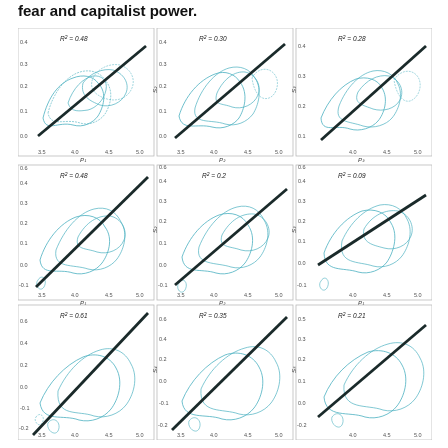fear and capitalist power.
[Figure (continuous-plot): 3x3 grid of scatter plots with regression lines. Row 1: R²=0.48 (P1 vs S1), R²=0.30 (P2 vs S2), R²=0.28 (P3 vs S3). Row 2: R²=0.48 (P1 vs S2), R²=0.2 (P2 vs S2), R²=0.09 (P1 vs S3). Row 3: R²=0.61 (P1 vs S3), R²=0.35 (P2 vs S4), R²=0.21 (P1 vs S5). Each plot shows teal contour clouds with a dark diagonal regression line.]